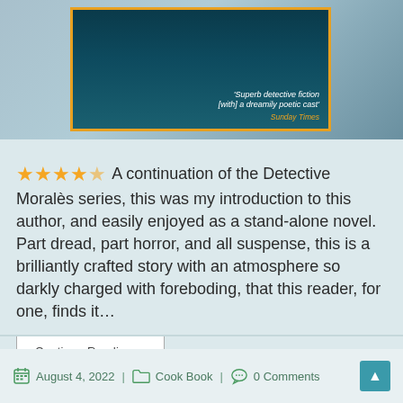[Figure (photo): Book cover of a Detective Moralès novel with a teal/dark blue underwater scene featuring a seal, gold border, and a blurb from Sunday Times reading 'Superb detective fiction [with] a dreamily poetic cast']
★★★★☆ A continuation of the Detective Moralès series, this was my introduction to this author, and easily enjoyed as a stand-alone novel. Part dread, part horror, and all suspense, this is a brilliantly crafted story with an atmosphere so darkly charged with foreboding, that this reader, for one, finds it…
Continue Reading ›
August 4, 2022 | Cook Book | 0 Comments